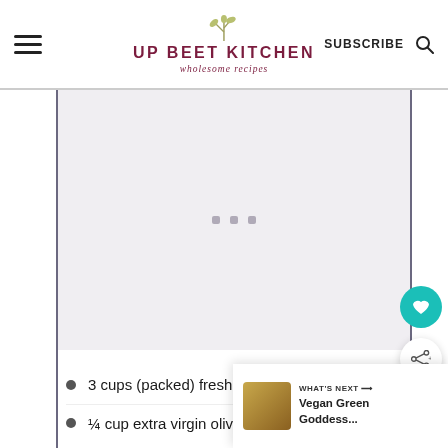UP BEET KITCHEN — wholesome recipes | SUBSCRIBE
[Figure (photo): Blurred/loading food image placeholder with three gray dots in the center, shown between vertical border lines]
3 cups (packed) fresh basil or p…
¼ cup extra virgin olive oil